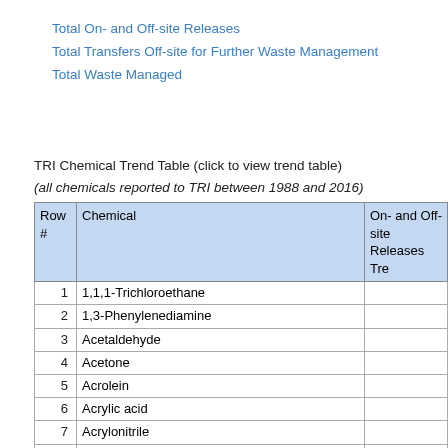Total On- and Off-site Releases
Total Transfers Off-site for Further Waste Management
Total Waste Managed
TRI Chemical Trend Table (click to view trend table)
(all chemicals reported to TRI between 1988 and 2016)
| Row # | Chemical | On- and Off-site Releases Tr |
| --- | --- | --- |
| 1 | 1,1,1-Trichloroethane |  |
| 2 | 1,3-Phenylenediamine |  |
| 3 | Acetaldehyde |  |
| 4 | Acetone |  |
| 5 | Acrolein |  |
| 6 | Acrylic acid |  |
| 7 | Acrylonitrile |  |
| 8 | Ammonia |  |
| 9 | Ammonium sulfate (solution) |  |
| 10 | Aniline |  |
| 11 | Asbestos (friable) |  |
| 12 | Benzene |  |
| 13 | Benzo[g,h,i]perylene |  |
| 14 | Benzoyl peroxide |  |